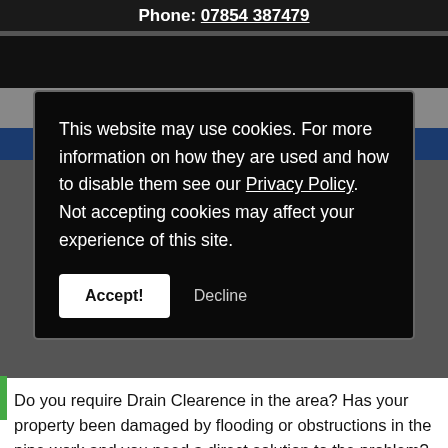Phone: 07854 387479
[Figure (screenshot): Navigation bar (dark/black background) and gray/blue website header bands]
This website may use cookies. For more information on how they are used and how to disable them see our Privacy Policy. Not accepting cookies may affect your experience of this site.
Accept!   Decline
Do you require Drain Clearence in the area? Has your property been damaged by flooding or obstructions in the pipe work and you need a direct solution to the problem? Matters like this require a proficient service from qualified and skilled specialists so make sure you call the experts